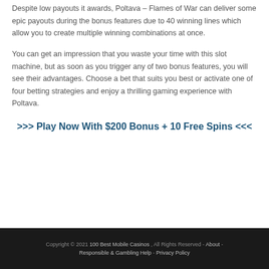Despite low payouts it awards, Poltava – Flames of War can deliver some epic payouts during the bonus features due to 40 winning lines which allow you to create multiple winning combinations at once.
You can get an impression that you waste your time with this slot machine, but as soon as you trigger any of two bonus features, you will see their advantages. Choose a bet that suits you best or activate one of four betting strategies and enjoy a thrilling gaming experience with Poltava.
>>> Play Now With $200 Bonus + 10 Free Spins <<<
Copyright © 2021 100 Best Mobile Casinos , All Rights Reserved - About - Responsible & Gambling Help - Privacy Policy